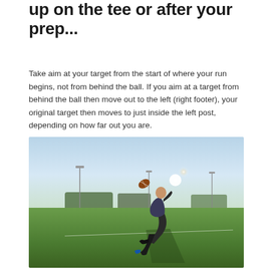up on the tee or after your prep...
Take aim at your target from the start of where your run begins, not from behind the ball. If you aim at a target from behind the ball then move out to the left (right footer), your original target then moves to just inside the left post, depending on how far out you are.
[Figure (photo): A rugby player mid-kick on a grass field, having just struck the ball which is airborne. Taken outdoors with bright sky background, trees and floodlights visible. Shadow cast on the turf.]